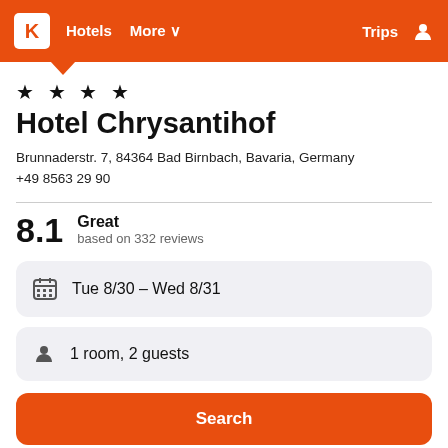K  Hotels  More ∨  Trips
★ ★ ★ ★
Hotel Chrysantihof
Brunnaderstr. 7, 84364 Bad Birnbach, Bavaria, Germany
+49 8563 29 90
8.1  Great  based on 332 reviews
Tue 8/30 – Wed 8/31
1 room, 2 guests
Search